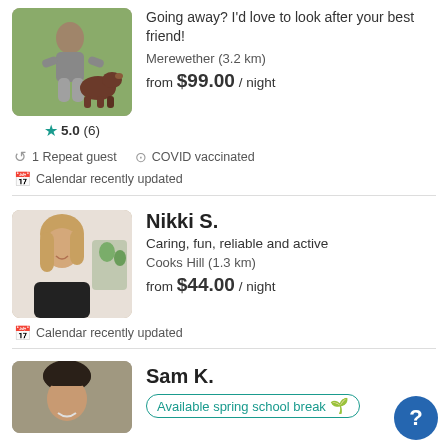[Figure (photo): Person crouching with a brown dog on grass]
5.0 (6)
Going away? I'd love to look after your best friend!
Merewether (3.2 km)
from $99.00 / night
1 Repeat guest
COVID vaccinated
Calendar recently updated
Nikki S.
[Figure (photo): Young woman with blonde hair smiling, wearing black top, indoor setting with plants]
Caring, fun, reliable and active
Cooks Hill (1.3 km)
from $44.00 / night
Calendar recently updated
Sam K.
[Figure (photo): Young man with dark hair, partial view]
Available spring school break